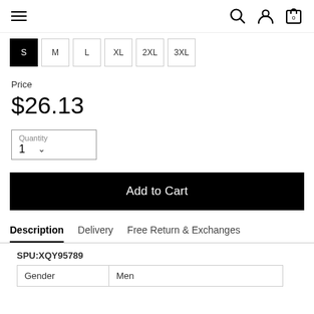Navigation bar with hamburger menu, search, account, and cart icons
Size options: S (active/selected), M, L, XL, 2XL, 3XL
Price
$26.13
Quantity 1
Add to Cart
Description | Delivery | Free Return & Exchanges
SPU:XQY95789
| Gender | Men |
| --- | --- |
| Gender | Men |